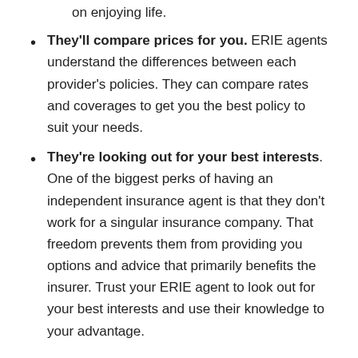They'll compare prices for you. ERIE agents understand the differences between each provider's policies. They can compare rates and coverages to get you the best policy to suit your needs.
They're looking out for your best interests. One of the biggest perks of having an independent insurance agent is that they don't work for a singular insurance company. That freedom prevents them from providing you options and advice that primarily benefits the insurer. Trust your ERIE agent to look out for your best interests and use their knowledge to your advantage.
When is it time to find